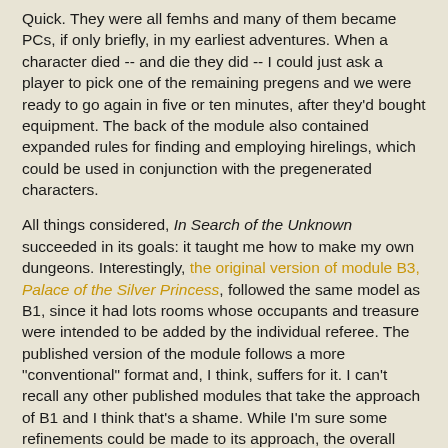Quick. They were all femhs and many of them became PCs, if only briefly, in my earliest adventures. When a character died -- and die they did -- I could just ask a player to pick one of the remaining pregens and we were ready to go again in five or ten minutes, after they'd bought equipment. The back of the module also contained expanded rules for finding and employing hirelings, which could be used in conjunction with the pregenerated characters.
All things considered, In Search of the Unknown succeeded in its goals: it taught me how to make my own dungeons. Interestingly, the original version of module B3, Palace of the Silver Princess, followed the same model as B1, since it had lots rooms whose occupants and treasure were intended to be added by the individual referee. The published version of the module follows a more "conventional" format and, I think, suffers for it. I can't recall any other published modules that take the approach of B1 and I think that's a shame. While I'm sure some refinements could be made to its approach, the overall formula is a sound one and could go a long way toward teaching the fundamentals of dungeon design to a new generation of gamers.